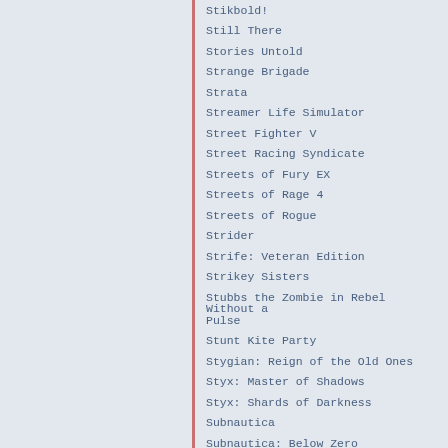Stikbold!
Still There
Stories Untold
Strange Brigade
Strata
Streamer Life Simulator
Street Fighter V
Street Racing Syndicate
Streets of Fury EX
Streets of Rage 4
Streets of Rogue
Strider
Strife: Veteran Edition
Strikey Sisters
Stubbs the Zombie in Rebel Without a Pulse
Stunt Kite Party
Stygian: Reign of the Old Ones
Styx: Master of Shadows
Styx: Shards of Darkness
Subnautica
Subnautica: Below Zero
Subterrain